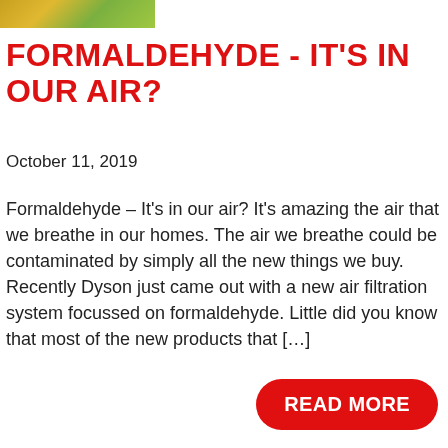[Figure (photo): Partial image strip showing green and yellow colors at the top of the page]
FORMALDEHYDE - IT'S IN OUR AIR?
October 11, 2019
Formaldehyde – It's in our air? It's amazing the air that we breathe in our homes. The air we breathe could be contaminated by simply all the new things we buy. Recently Dyson just came out with a new air filtration system focussed on formaldehyde. Little did you know that most of the new products that […]
READ MORE